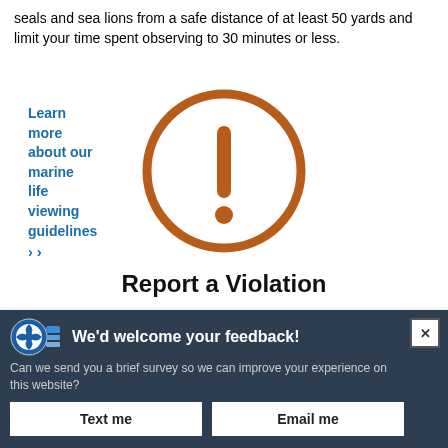seals and sea lions from a safe distance of at least 50 yards and limit your time spent observing to 30 minutes or less.
Learn more about our marine life viewing guidelines ›
[Figure (illustration): Warning icon: a brown/orange circle with an exclamation mark inside]
Report a Violation
We'd welcome your feedback! Can we send you a brief survey so we can improve your experience on this website?
Text me
Email me
Powered by Verint Experience Cloud